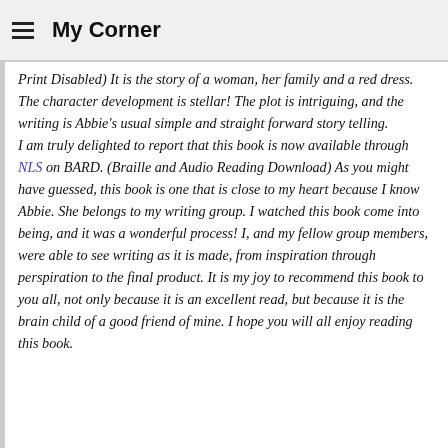My Corner
Print Disabled) It is the story of a woman, her family and a red dress. The character development is stellar! The plot is intriguing, and the writing is Abbie's usual simple and straight forward story telling.
I am truly delighted to report that this book is now available through NLS on BARD. (Braille and Audio Reading Download) As you might have guessed, this book is one that is close to my heart because I know Abbie. She belongs to my writing group. I watched this book come into being, and it was a wonderful process! I, and my fellow group members, were able to see writing as it is made, from inspiration through perspiration to the final product. It is my joy to recommend this book to you all, not only because it is an excellent read, but because it is the brain child of a good friend of mine. I hope you will all enjoy reading this book.